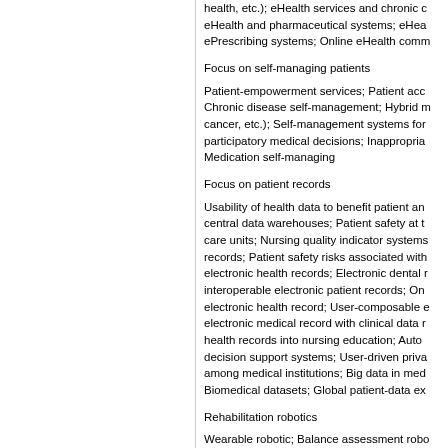health, etc.); eHealth services and chronic eHealth and pharmaceutical systems; eHea ePrescribing systems; Online eHealth comm
Focus on self-managing patients
Patient-empowerment services; Patient acc Chronic disease self-management; Hybrid m cancer, etc.); Self-management systems for participatory medical decisions; Inappropria Medication self-managing
Focus on patient records
Usability of health data to benefit patient an central data warehouses; Patient safety at t care units; Nursing quality indicator systems records; Patient safety risks associated with electronic health records; Electronic dental r interoperable electronic patient records; On electronic health record; User-composable e electronic medical record with clinical data r health records into nursing education; Auto decision support systems; User-driven priva among medical institutions; Big data in med Biomedical datasets; Global patient-data ex
Rehabilitation robotics
Wearable robotic; Balance assessment robo